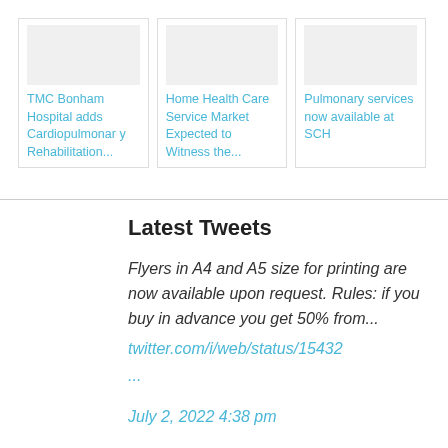[Figure (screenshot): Three article card thumbnails with placeholder images at the top of the page showing links to medical/health articles]
TMC Bonham Hospital adds Cardiopulmonary Rehabilitation...
Home Health Care Service Market Expected to Witness the...
Pulmonary services now available at SCH
Latest Tweets
Flyers in A4 and A5 size for printing are now available upon request. Rules: if you buy in advance you get 50% from...
twitter.com/i/web/status/15432...
July 2, 2022 4:38 pm